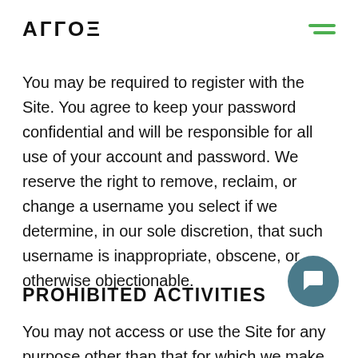AГГОΞ
You may be required to register with the Site. You agree to keep your password confidential and will be responsible for all use of your account and password. We reserve the right to remove, reclaim, or change a username you select if we determine, in our sole discretion, that such username is inappropriate, obscene, or otherwise objectionable.
PROHIBITED ACTIVITIES
You may not access or use the Site for any purpose other than that for which we make the